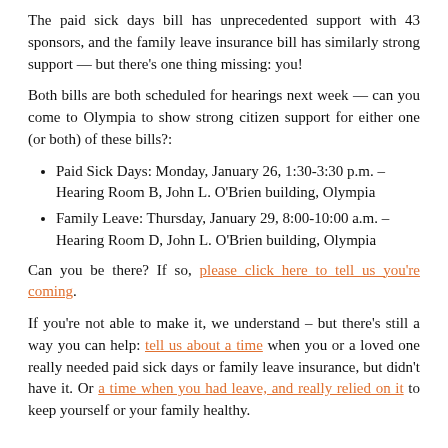The paid sick days bill has unprecedented support with 43 sponsors, and the family leave insurance bill has similarly strong support — but there's one thing missing: you!
Both bills are both scheduled for hearings next week — can you come to Olympia to show strong citizen support for either one (or both) of these bills?:
Paid Sick Days: Monday, January 26, 1:30-3:30 p.m. – Hearing Room B, John L. O'Brien building, Olympia
Family Leave: Thursday, January 29, 8:00-10:00 a.m. – Hearing Room D, John L. O'Brien building, Olympia
Can you be there? If so, please click here to tell us you're coming.
If you're not able to make it, we understand – but there's still a way you can help: tell us about a time when you or a loved one really needed paid sick days or family leave insurance, but didn't have it. Or a time when you had leave, and really relied on it to keep yourself or your family healthy.